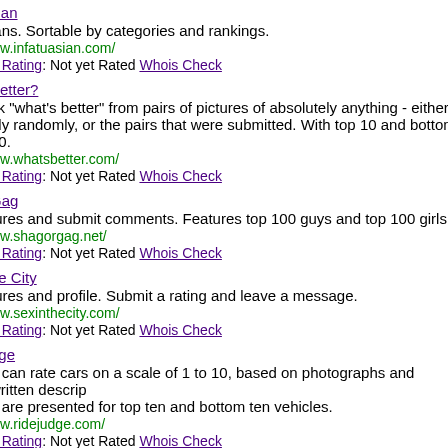sian - www.infatuasian.com/ - ians. Sortable by categories and rankings. - Site Rating: Not yet Rated Whois Check
Better? - www.whatsbetter.com/ - ck "what's better" from pairs of pictures of absolutely anything - either ely randomly, or the pairs that were submitted. With top 10 and bottom 10. - Site Rating: Not yet Rated Whois Check
Gag - www.shagorgag.net/ - tures and submit comments. Features top 100 guys and top 100 girls. - Site Rating: Not yet Rated Whois Check
ne City - www.sexinthecity.com/ - tures and profile. Submit a rating and leave a message. - Site Rating: Not yet Rated Whois Check
dge - www.ridejudge.com/ - s can rate cars on a scale of 1 to 10, based on photographs and written descriptions are presented for top ten and bottom ten vehicles. - Site Rating: Not yet Rated Whois Check
Babies - tures of babies on scale of 1 to 10, or submit your own baby photo to be rated